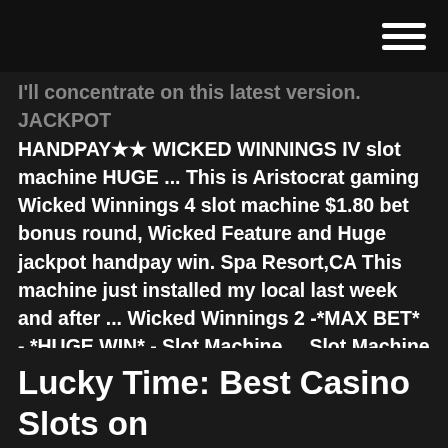[hamburger menu icon]
I'll concentrate on this latest version. JACKPOT HANDPAY★★ WICKED WINNINGS IV slot machine HUGE ... This is Aristocrat gaming Wicked Winnings 4 slot machine $1.80 bet bonus round, Wicked Feature and Huge jackpot handpay win. Spa Resort,CA This machine just installed my local last week and after ... Wicked Winnings 2 -*MAX BET* - *HUGE WIN* - Slot Machine ... Slot Machine Slot Machine Bonus Wicked Winnings 2 Wicked Winnings II Wicked Winnings 2 Slot Machine Casinomannj Casinomannj on YouTube YouTube YouTube Slot Win. Category Gaming; Show more Show less. Wicked Winnings II By Aristocrat Details and Credits for ...
Lucky Time: Best Casino Slots on